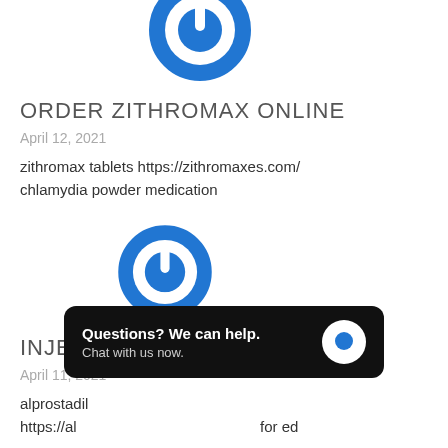[Figure (logo): Blue circular power button logo icon, partially cropped at top]
ORDER ZITHROMAX ONLINE
April 12, 2021
zithromax tablets https://zithromaxes.com/ chlamydia powder medication
[Figure (logo): Blue circular power button logo icon]
INJECTABLE ED MEDICATIONS
April 11, 2021
alprostadil... https://al... for ed
[Figure (screenshot): Chat overlay popup: Questions? We can help. Chat with us now.]